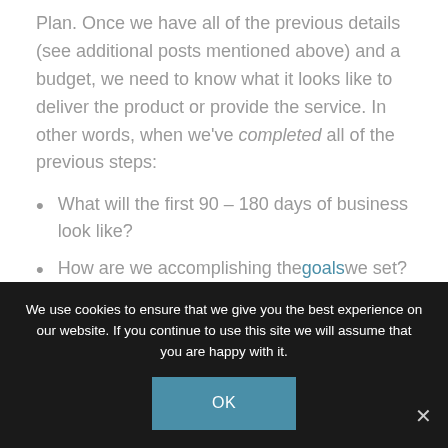Plan. Once we have all of the previous details (see additional posts mentioned above) and a budget, we need to know what it looks like to deliver the product or provide the service. In other words, when we've completed all of the previous steps:
What will the first 90 – 180 days of business look like?
How are we accomplishing the goals we set?
What are the KRA's of those involved?
We use cookies to ensure that we give you the best experience on our website. If you continue to use this site we will assume that you are happy with it.